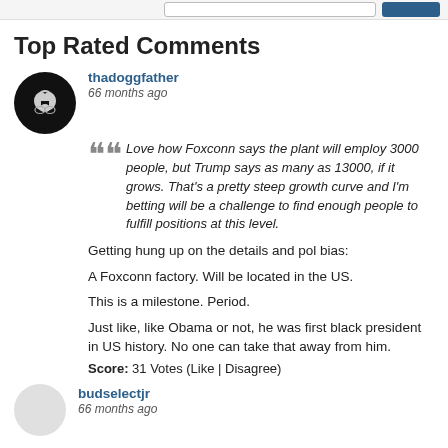Top Rated Comments
thadoggfather
66 months ago
Love how Foxconn says the plant will employ 3000 people, but Trump says as many as 13000, if it grows. That's a pretty steep growth curve and I'm betting will be a challenge to find enough people to fulfill positions at this level.
Getting hung up on the details and pol bias:
A Foxconn factory. Will be located in the US.
This is a milestone. Period.
Just like, like Obama or not, he was first black president in US history. No one can take that away from him.
Score: 31 Votes (Like | Disagree)
budselectjr
66 months ago